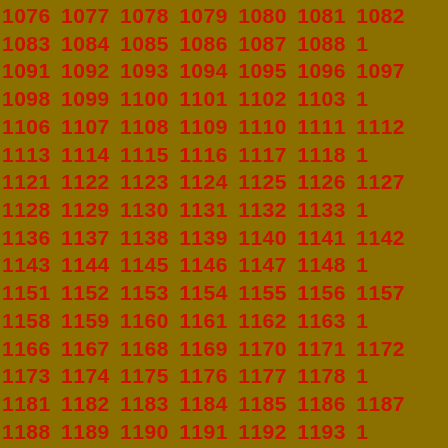1076 1077 1078 1079 1080 1081 1082 1083 1084 1085 1086 1087 1088 1089 1090 1091 1092 1093 1094 1095 1096 1097 1098 1099 1100 1101 1102 1103 1104 1105 1106 1107 1108 1109 1110 1111 1112 1113 1114 1115 1116 1117 1118 1119 1120 1121 1122 1123 1124 1125 1126 1127 1128 1129 1130 1131 1132 1133 1134 1135 1136 1137 1138 1139 1140 1141 1142 1143 1144 1145 1146 1147 1148 1149 1150 1151 1152 1153 1154 1155 1156 1157 1158 1159 1160 1161 1162 1163 1164 1165 1166 1167 1168 1169 1170 1171 1172 1173 1174 1175 1176 1177 1178 1179 1180 1181 1182 1183 1184 1185 1186 1187 1188 1189 1190 1191 1192 1193 1194 1195 1196 1197 1198 1199 1200 1201 1202 1203 1204 1205 1206 1207 1208 1209 1210 1211 1212 1213 1214 1215 1216 1217 1218 1219 1220 1221 1222 1223 1224 1225 1226 1227 1228 1229 1230 1231 1232 1233 1234 1235 1236 1237 1238 1239 1240 1241 1242 1243 1244 1245 1246 1247 1248 1249 1250 1251 1252 1253 1254 1255 1256 1257 1258 1259 1260 1261 1262 1263 1264 1265 1266 1267 1268 1269 1270 1271 1272 1273 1274 1275 1276 1277 1278 1279 1280 1281 1282 1283 1284 1285 1286 1287 1288 1289 1290 1291 1292 1293 1294 1295 1296 1297 1298 1299 1300 1301 1302 1303 1304 1305 1306 1307 1308 1309 1310 1311 1312 1313 1314 1315 1316 1317 1318 1319 1320 1321 1322 1323 1324 1325 1326 1327 1328 1329 1330 1331 1332 1333 1334 1335 1336 1337 1338 1339 1340 1341 1342 1343 1344 1345 1346 1347 1348 1349 1350 1351 1352 1353 1354 1355 1356 1357 1358 1359 1360 1361 1362 1363 1364 1365 1366 1367 1368 1369 1370 1371 1372 1373 1374 1375 1376 1377 1378 1379 1380 1381 1382 1383 1384 1385 1386 1387 1388 1389 1390 1391 1392 1393 1394 1395 1396 1397 1398 1399 1400 1401 1402 1403 1404